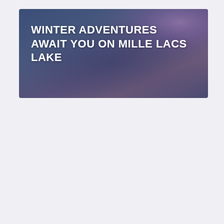[Figure (photo): Banner image with a blurred winter/dusk sky background in shades of blue and purple, with bold white uppercase text overlay reading 'WINTER ADVENTURES AWAIT YOU ON MILLE LACS LAKE']
WINTER ADVENTURES AWAIT YOU ON MILLE LACS LAKE